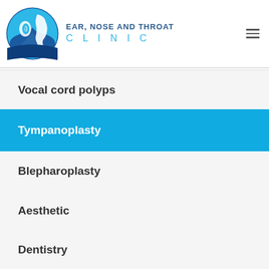[Figure (logo): Ear, Nose and Throat Clinic logo: circular icon with an ear and face profile silhouette in shades of blue, with text 'EAR, NOSE AND THROAT CLINIC' beside it]
Vocal cord polyps
Tympanoplasty
Blepharoplasty
Aesthetic
Dentistry